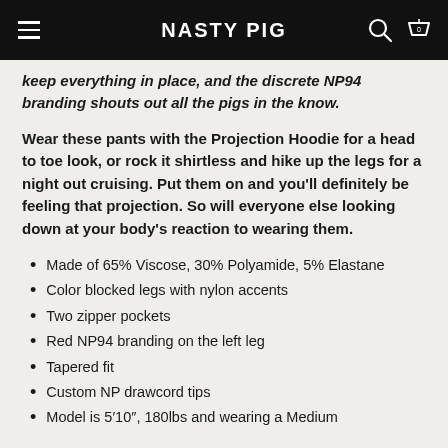NASTY PIG
keep everything in place, and the discrete NP94 branding shouts out all the pigs in the know.
Wear these pants with the Projection Hoodie for a head to toe look, or rock it shirtless and hike up the legs for a night out cruising. Put them on and you'll definitely be feeling that projection. So will everyone else looking down at your body's reaction to wearing them.
Made of 65% Viscose, 30% Polyamide, 5% Elastane
Color blocked legs with nylon accents
Two zipper pockets
Red NP94 branding on the left leg
Tapered fit
Custom NP drawcord tips
Model is 5'10", 180lbs and wearing a Medium